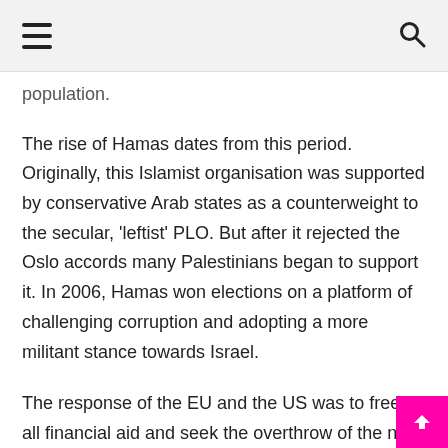≡  🔍
population.
The rise of Hamas dates from this period. Originally, this Islamist organisation was supported by conservative Arab states as a counterweight to the secular, 'leftist' PLO. But after it rejected the Oslo accords many Palestinians began to support it. In 2006, Hamas won elections on a platform of challenging corruption and adopting a more militant stance towards Israel.
The response of the EU and the US was to freeze all financial aid and seek the overthrow of the new government. Tragically, the PLO co-operated with these efforts and so today there are two separate regimes on the West Bank and Gaza. Hamas has its own weakness